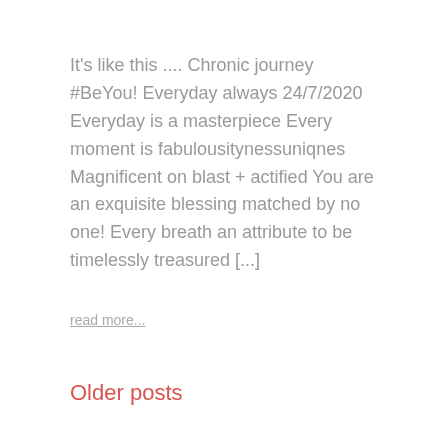It's like this .... Chronic journey #BeYou! Everyday always 24/7/2020 Everyday is a masterpiece Every moment is fabulousitynessuniqnes Magnificent on blast + actified You are an exquisite blessing matched by no one! Every breath an attribute to be timelessly treasured [...]
read more...
Older posts